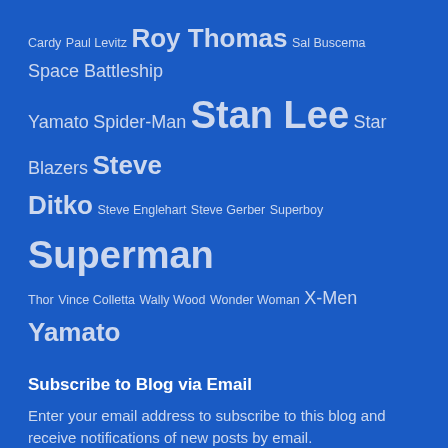Cardy Paul Levitz Roy Thomas Sal Buscema Space Battleship Yamato Spider-Man Stan Lee Star Blazers Steve Ditko Steve Englehart Steve Gerber Superboy Superman Thor Vince Colletta Wally Wood Wonder Woman X-Men Yamato
Subscribe to Blog via Email
Enter your email address to subscribe to this blog and receive notifications of new posts by email.
Email Address
Subscribe
Join 41,255 other followers